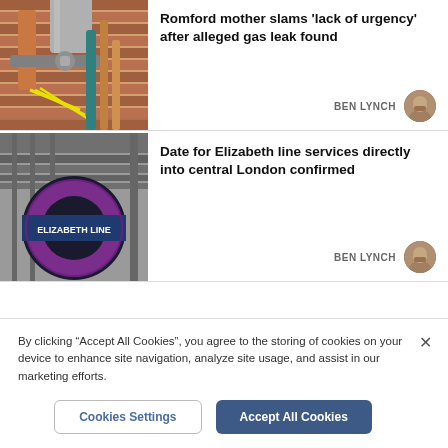[Figure (photo): Photo of pipes and gas fittings in a utility room with brick wall background]
Romford mother slams 'lack of urgency' after alleged gas leak found
BEN LYNCH
[Figure (photo): Photo of Elizabeth line roundel sign at a tube station]
Date for Elizabeth line services directly into central London confirmed
BEN LYNCH
By clicking "Accept All Cookies", you agree to the storing of cookies on your device to enhance site navigation, analyze site usage, and assist in our marketing efforts.